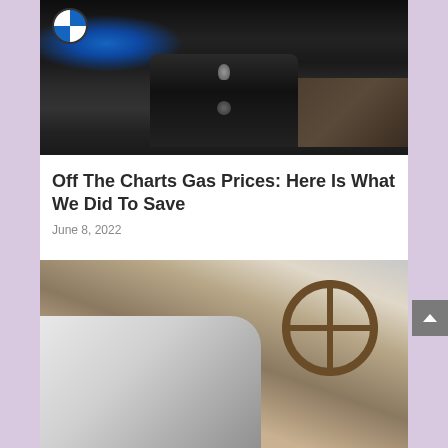[Figure (photo): BMW car interior showing dashboard, center console, gear selector, cup holder, and blue BMW logo, shot from driver's perspective with dark leather interior]
Off The Charts Gas Prices: Here Is What We Did To Save
June 8, 2022
[Figure (photo): Classic white convertible car interior/exterior shot showing vintage steering wheel with brown leather trim, side mirror, and chrome details in warm sepia tones]